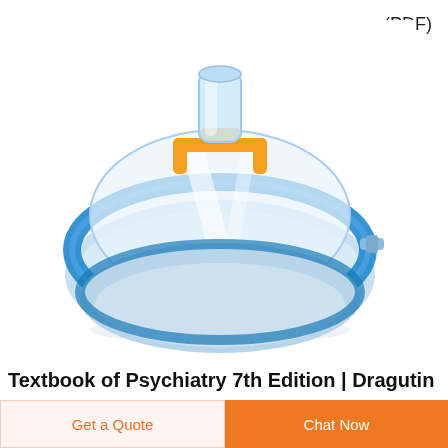(PDF)
[Figure (photo): Medical anesthesia face mask with transparent dome body, blue inflatable cushion rim, orange connector bracket, and small side port. The mask is shown from a three-quarter front view against a white background.]
Textbook of Psychiatry 7th Edition | Dragutin
Get a Quote
Chat Now